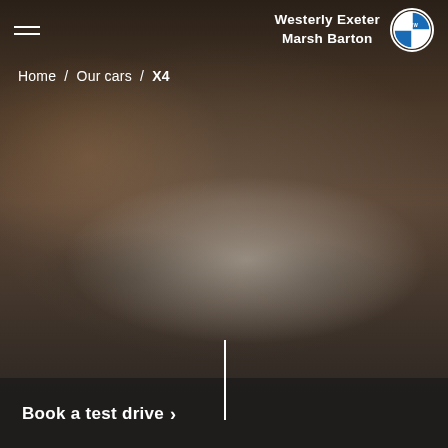[Figure (photo): Blurred background photo of a white/silver BMW X4 SUV parked in a dark outdoor setting, serving as a hero background image for a car dealership webpage]
Westerly Exeter Marsh Barton
Home / Our cars / X4
Book a test drive >